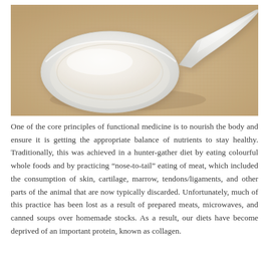[Figure (photo): Close-up photograph of a white ceramic spoon filled with white powder (collagen powder) resting on a beige burlap/linen fabric background.]
One of the core principles of functional medicine is to nourish the body and ensure it is getting the appropriate balance of nutrients to stay healthy. Traditionally, this was achieved in a hunter-gather diet by eating colourful whole foods and by practicing "nose-to-tail" eating of meat, which included the consumption of skin, cartilage, marrow, tendons/ligaments, and other parts of the animal that are now typically discarded. Unfortunately, much of this practice has been lost as a result of prepared meats, microwaves, and canned soups over homemade stocks. As a result, our diets have become deprived of an important protein, known as collagen.